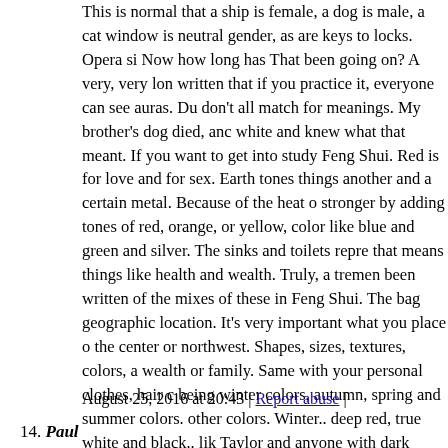This is normal that a ship is female, a dog is male, a cat window is neutral gender, as are keys to locks. Opera si Now how long has That been going on? A very, very lon written that if you practice it, everyone can see auras. Du don't all match for meanings. My brother's dog died, anc white and knew what that meant. If you want to get into study Feng Shui. Red is for love and for sex. Earth tones things another and a certain metal. Because of the heat o stronger by adding tones of red, orange, or yellow, color like blue and green and silver. The sinks and toilets repre that means things like health and wealth. Truly, a tremen been written of the mixes of these in Feng Shui. The bag geographic location. It's very important what you place o the center or northwest. Shapes, sizes, textures, colors, a wealth or family. Same with your personal clothes, hair c being winter colors, autumn, spring and summer colors. other colors. Winter.. deep red, true white and black.. lik Taylor and anyone with dark black skin can wear rivertin red lipstick, nails and clothes. Spring is yellow, lime gre. Autumn is swarthy, not pink or rose colored faces, but y lavender, (think fire smoke) associate with Indiana Jones Soooo much written on it in Feng Shui.
August 25, 2016 at 20:43 | Report abuse |
14. Paul